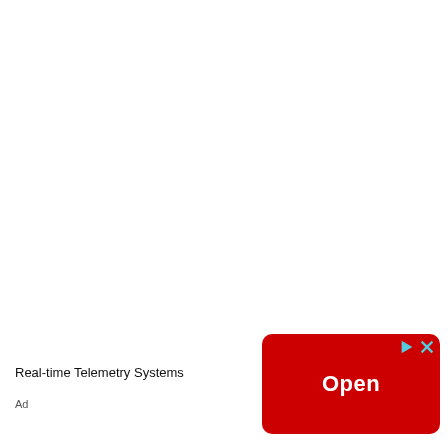[Figure (other): Mostly blank white page area, representing empty document content above an advertisement banner]
Real-time Telemetry Systems
[Figure (other): Red rounded rectangle button with white bold text 'Open', with small play and close icons in the top-right corner — advertisement button]
Ad